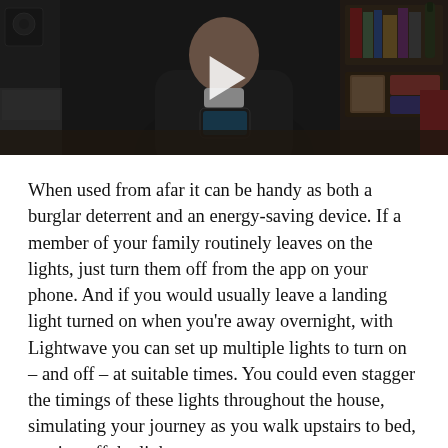[Figure (photo): Dark video thumbnail showing a person sitting at a desk holding a smartphone, with shelving and home decor in background. A white play button triangle is centered on the image.]
When used from afar it can be handy as both a burglar deterrent and an energy-saving device. If a member of your family routinely leaves on the lights, just turn them off from the app on your phone. And if you would usually leave a landing light turned on when you're away overnight, with Lightwave you can set up multiple lights to turn on – and off – at suitable times. You could even stagger the timings of these lights throughout the house, simulating your journey as you walk upstairs to bed, turning off the lights as you go.